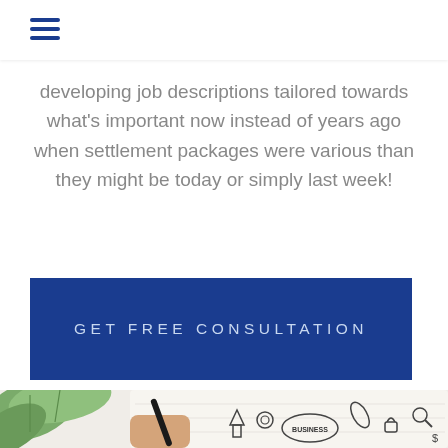developing job descriptions tailored towards what's important now instead of years ago when settlement packages were various than they might be today or simply last week!
GET FREE CONSULTATION
[Figure (photo): A hand holding a pen writing in a notebook filled with business sketches and diagrams including the word BUSINESS, surrounded by green leaves on white surface]